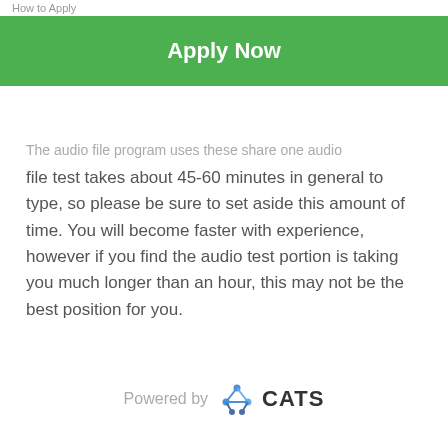How to Apply
[Figure (other): Green Apply Now button]
The audio file test takes about 45-60 minutes in general to type, so please be sure to set aside this amount of time. You will become faster with experience, however if you find the audio test portion is taking you much longer than an hour, this may not be the best position for you.
Powered by CATS